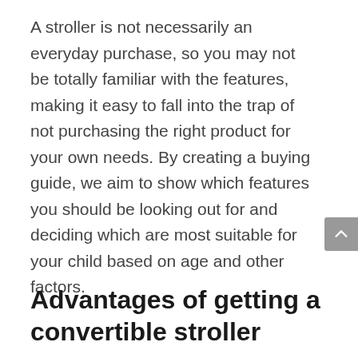A stroller is not necessarily an everyday purchase, so you may not be totally familiar with the features, making it easy to fall into the trap of not purchasing the right product for your own needs. By creating a buying guide, we aim to show which features you should be looking out for and deciding which are most suitable for your child based on age and other factors.
Advantages of getting a convertible stroller